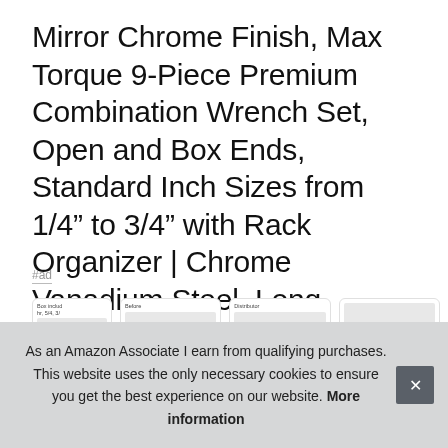Mirror Chrome Finish, Max Torque 9-Piece Premium Combination Wrench Set, Open and Box Ends, Standard Inch Sizes from 1/4” to 3/4” with Rack Organizer | Chrome Vanadium Steel, Long Pattern Design
#ad
[Figure (screenshot): Row of four product thumbnail cards partially visible at bottom of page, showing product images and labels]
As an Amazon Associate I earn from qualifying purchases. This website uses the only necessary cookies to ensure you get the best experience on our website. More information